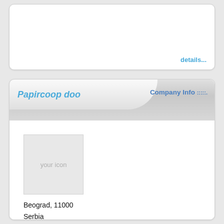details...
Papircoop doo
Company Info ::::.
[Figure (other): Placeholder icon box with text 'your icon']
Beograd, 11000
Serbia
Tel.: 011/375-4222
Fax: 011/3754-500
Web: www.papircoop.rs
E-mail: office@papircoop.rs